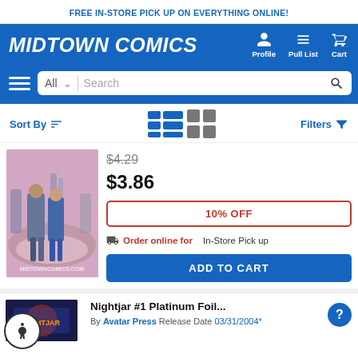FREE IN-STORE PICK UP ON EVERYTHING ONLINE!
MIDTOWN COMICS
Profile  Pull List  Cart
All  Search
Sort By  Filters
[Figure (photo): Comic book cover showing two people dancing on a dance floor, a man in a suit and a woman in blue, with an arena-like setting in the background. Watermark: MIDTOWNCOMICS.COM]
$4.29
$3.86
10% OFF
Order online for In-Store Pick up
ADD TO CART
Nightjar #1 Platinum Foil...
By Avatar Press Release Date 03/31/2004*
[Figure (photo): Partial view of a comic book cover with dark/psychedelic art, partially visible at the bottom of the page.]